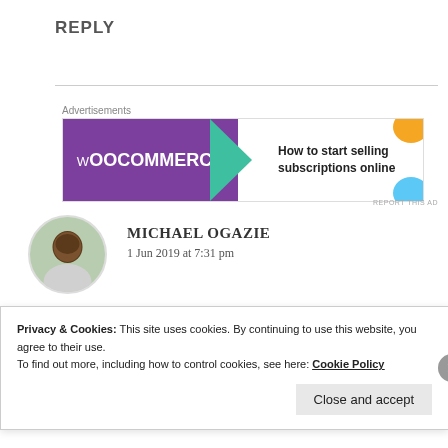REPLY
[Figure (illustration): WooCommerce advertisement banner: purple left panel with WooCommerce logo, teal arrow, and white right panel with text 'How to start selling subscriptions online' with orange and blue decorative blobs]
MICHAEL OGAZIE
1 Jun 2019 at 7:31 pm
Congratulations to you dear!
Privacy & Cookies: This site uses cookies. By continuing to use this website, you agree to their use.
To find out more, including how to control cookies, see here: Cookie Policy
Close and accept